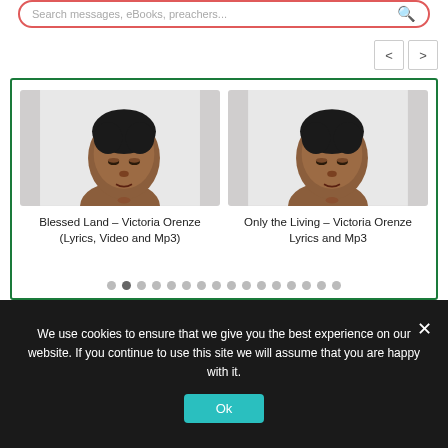Search messages, eBooks, preachers...
[Figure (screenshot): Navigation previous/next buttons (< and >) in square outlines]
[Figure (photo): Portrait photo of a woman with dark upswept hair, light blouse, eyes partially closed, light gray background]
Blessed Land – Victoria Orenze (Lyrics, Video and Mp3)
[Figure (photo): Portrait photo of a woman with dark upswept hair, light blouse, eyes partially closed, light gray background]
Only the Living – Victoria Orenze Lyrics and Mp3
We use cookies to ensure that we give you the best experience on our website. If you continue to use this site we will assume that you are happy with it.
Ok